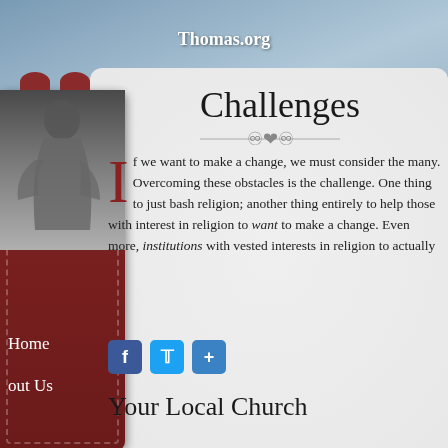Thomas.org
Challenges
If we want to make a change, we must consider the many. Overcoming these obstacles is the challenge. One thing to just bash religion; another thing entirely to help those with interest in religion to want to make a change. Even more, institutions with vested interests in religion to actually
[Figure (illustration): Social sharing buttons: Facebook, Twitter, and Share (plus sign)]
Your Local Church